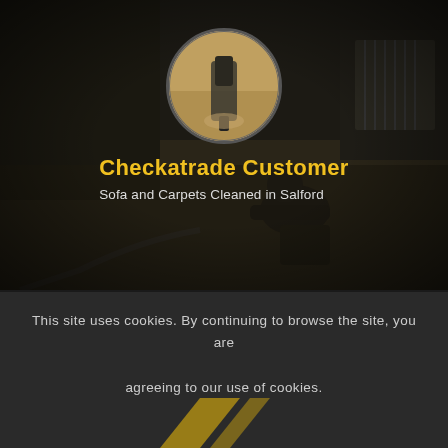[Figure (photo): Circular profile image showing carpet cleaning nozzle on beige carpet, with dark room background showing a person cleaning carpet and a radiator in background]
Checkatrade Customer
Sofa and Carpets Cleaned in Salford
This site uses cookies. By continuing to browse the site, you are agreeing to our use of cookies.
Accept settings
Hide notification only
Settings